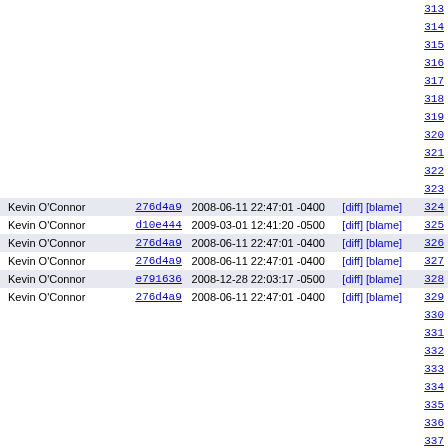| Author | Commit | Date | Links | Line |
| --- | --- | --- | --- | --- |
|  |  |  |  | 313 |
|  |  |  |  | 314 |
|  |  |  |  | 315 |
|  |  |  |  | 316 |
|  |  |  |  | 317 |
|  |  |  |  | 318 |
|  |  |  |  | 319 |
|  |  |  |  | 320 |
|  |  |  |  | 321 |
|  |  |  |  | 322 |
|  |  |  |  | 323 |
| Kevin O'Connor | 276d4a9 | 2008-06-11 22:47:01 -0400 | [diff] [blame] | 324 |
| Kevin O'Connor | d10e444 | 2009-03-01 12:41:20 -0500 | [diff] [blame] | 325 |
| Kevin O'Connor | 276d4a9 | 2008-06-11 22:47:01 -0400 | [diff] [blame] | 326 |
| Kevin O'Connor | 276d4a9 | 2008-06-11 22:47:01 -0400 | [diff] [blame] | 327 |
| Kevin O'Connor | e791636 | 2008-12-28 22:03:17 -0500 | [diff] [blame] | 328 |
| Kevin O'Connor | 276d4a9 | 2008-06-11 22:47:01 -0400 | [diff] [blame] | 329 |
|  |  |  |  | 330 |
|  |  |  |  | 331 |
|  |  |  |  | 332 |
|  |  |  |  | 333 |
|  |  |  |  | 334 |
|  |  |  |  | 335 |
|  |  |  |  | 336 |
|  |  |  |  | 337 |
| Kevin O'Connor | e06363e | 2008-08-29 21:12:03 -0400 | [diff] [blame] | 338 |
| Kevin O'Connor | 276d4a9 | 2008-06-11 22:47:01 -0400 | [diff] [blame] | 339 |
|  |  |  |  | 340 |